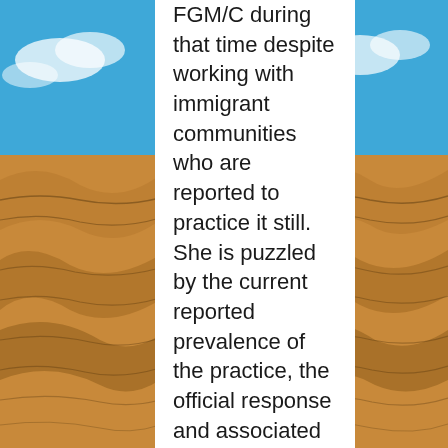[Figure (photo): Desert sand dunes with blue sky and clouds, flanking both sides of a white text panel in the center]
FGM/C during that time despite working with immigrant communities who are reported to practice it still. She is puzzled by the current reported prevalence of the practice, the official response and associated activism. And is worried that they